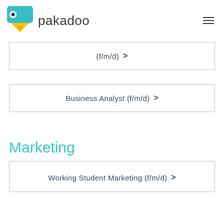pakadoo
(f/m/d) >
Business Analyst (f/m/d) >
Marketing
Working Student Marketing (f/m/d) >